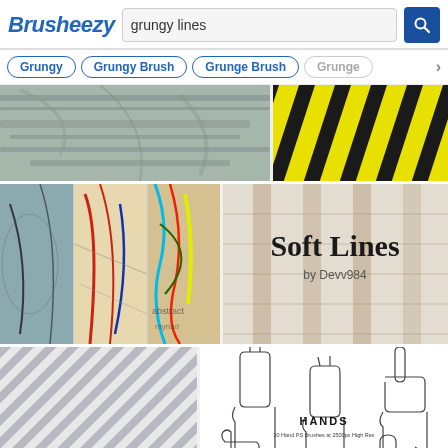Brusheezy — grungy lines
Grungy
Grungy Brush
Grunge Brush
Grunge
[Figure (screenshot): Grungy lines brush texture preview, wide horizontal thumbnail]
[Figure (screenshot): Black and yellow diagonal hazard stripes]
[Figure (screenshot): Abstract grungy line brushes collage with red and blue strokes]
[Figure (illustration): Soft Lines by Devv984 — decorative card with grid pattern background]
[Figure (screenshot): Diagonal grey lines pattern with LINES text overlay]
[Figure (illustration): HANDS brush set — outline illustrations of various hand poses]